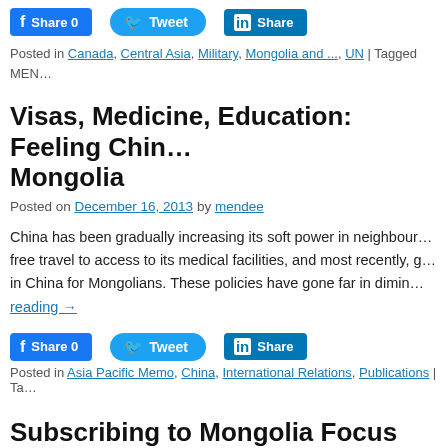[Figure (other): Social share buttons row: Facebook Share 0, Twitter Tweet, LinkedIn Share]
Posted in Canada, Central Asia, Military, Mongolia and ..., UN | Tagged MEN...
Visas, Medicine, Education: Feeling China in Mongolia
Posted on December 16, 2013 by mendee
China has been gradually increasing its soft power in neighbouring free travel to access to its medical facilities, and most recently, g... in China for Mongolians. These policies have gone far in dimin... reading →
[Figure (other): Social share buttons row: Facebook Share 0, Twitter Tweet, LinkedIn Share]
Posted in Asia Pacific Memo, China, International Relations, Publications | Ta...
Subscribing to Mongolia Focus Updates
Posted on December 14, 2013 by Julian Dierkes